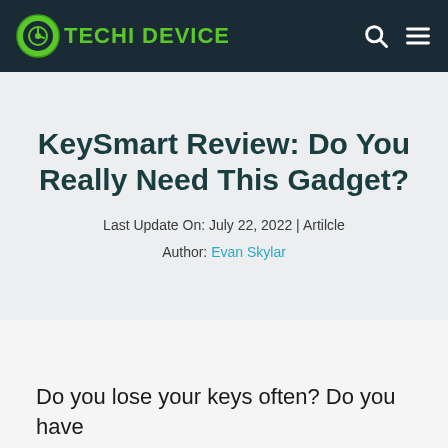TECHI DEVICE
KeySmart Review: Do You Really Need This Gadget?
Last Update On: July 22, 2022 | Artilcle
Author: Evan Skylar
Do you lose your keys often? Do you have